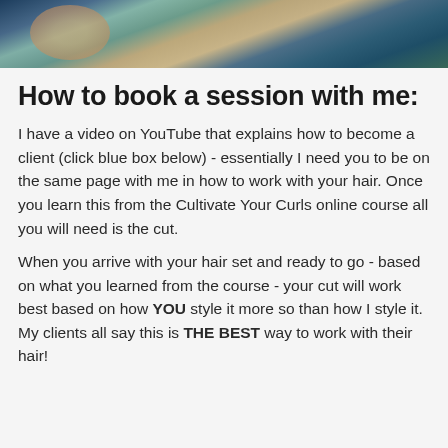[Figure (photo): Partial photo of a person wearing a plaid/checkered shirt in blue and green tones, cropped at the top of the page]
How to book a session with me:
I have a video on YouTube that explains how to become a client (click blue box below) - essentially I need you to be on the same page with me in how to work with your hair. Once you learn this from the Cultivate Your Curls online course all you will need is the cut.
When you arrive with your hair set and ready to go - based on what you learned from the course - your cut will work best based on how YOU style it more so than how I style it. My clients all say this is THE BEST way to work with their hair!